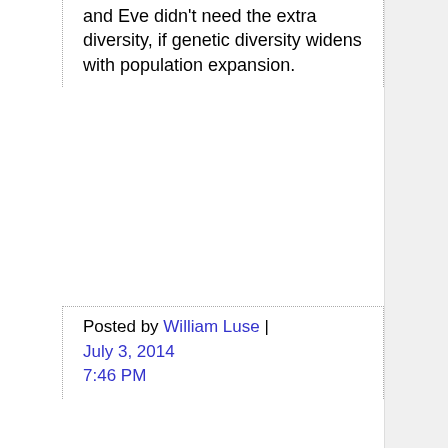and Eve didn't need the extra diversity, if genetic diversity widens with population expansion.
Posted by William Luse | July 3, 2014 7:46 PM
that when the first Erectus was born, approximately 14,000 others were